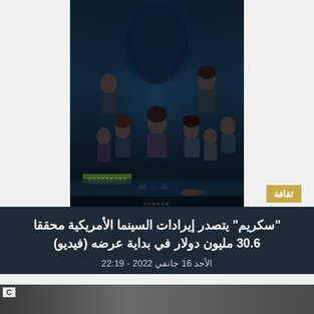[Figure (photo): Movie poster for 'Scream' (2022) showing cast members with dark atmospheric horror background and 'WOODSBORO' sign]
"سكريم" يتصدر إيرادات السينما الأمريكية محققا 30.6 مليون دولار في بداية عرضه (فيديو)
الأحد 16 جانفي 2022 - 22:19
[Figure (screenshot): Video thumbnail showing dark/grey scene]